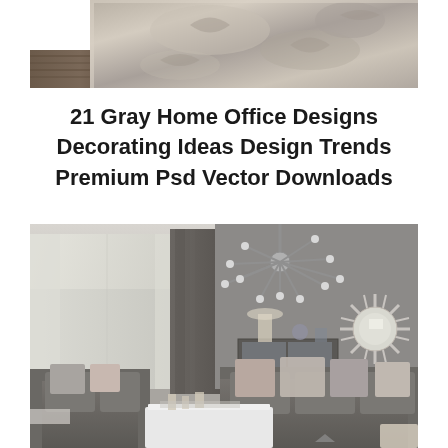[Figure (photo): Close-up photo of a gray patterned rug or carpet texture with subtle design motifs]
21 Gray Home Office Designs Decorating Ideas Design Trends Premium Psd Vector Downloads
[Figure (photo): Elegant gray living room interior featuring a Sputnik chandelier, gray sofas with decorative cushions, a mirrored console table, a starburst wall mirror, and a white coffee table with candles]